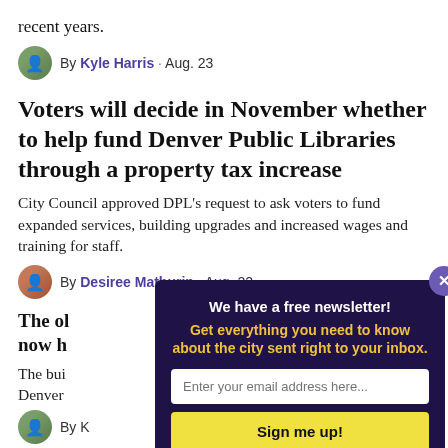recent years.
By Kyle Harris · Aug. 23
Voters will decide in November whether to help fund Denver Public Libraries through a property tax increase
City Council approved DPL's request to ask voters to fund expanded services, building upgrades and increased wages and training for staff.
By Desiree Mathurin · Aug. 22
The ol now h
The bui Denver
By K
[Figure (infographic): Newsletter signup popup overlay with dark purple background. Text: 'We have a free newsletter! Get everything you need to know about the city sent right to your inbox.' Email input field and 'Sign me up!' yellow button. Close X button in top right.]